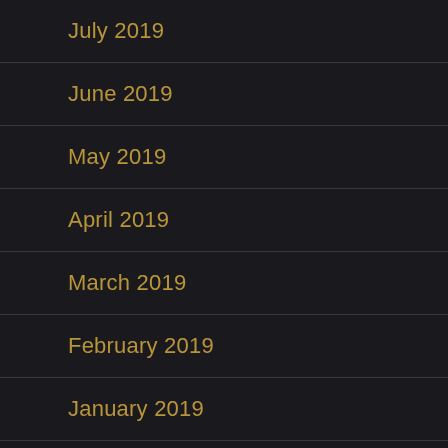July 2019
June 2019
May 2019
April 2019
March 2019
February 2019
January 2019
December 2018